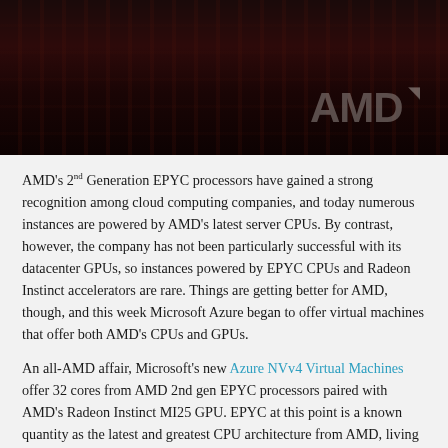[Figure (photo): Dark reddish-brown photo of AMD hardware/processors with AMD logo watermark visible in lower right]
AMD's 2nd Generation EPYC processors have gained a strong recognition among cloud computing companies, and today numerous instances are powered by AMD's latest server CPUs. By contrast, however, the company has not been particularly successful with its datacenter GPUs, so instances powered by EPYC CPUs and Radeon Instinct accelerators are rare. Things are getting better for AMD, though, and this week Microsoft Azure began to offer virtual machines that offer both AMD's CPUs and GPUs.
An all-AMD affair, Microsoft's new Azure NVv4 Virtual Machines offer 32 cores from AMD 2nd gen EPYC processors paired with AMD's Radeon Instinct MI25 GPU. EPYC at this point is a known quantity as the latest and greatest CPU architecture from AMD, living up to the expectations that come from it. Pairing it with the Radeon Instinct MI25, however, is an unusual choice. The MI25 is from AMD's first generation of Instinct accelerators, and uses the